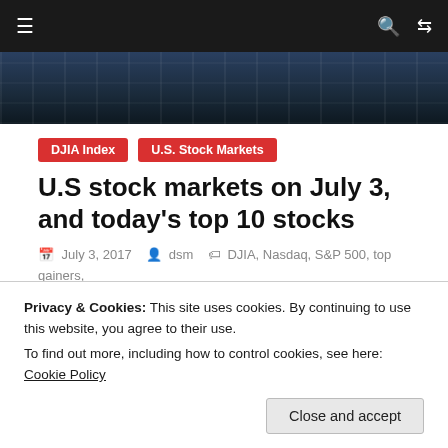Navigation bar with hamburger menu, search, and share icons
[Figure (photo): Dark glass building facade hero image strip]
DJIA Index   U.S. Stock Markets
U.S stock markets on July 3, and today's top 10 stocks
July 3, 2017  dsm  DJIA, Nasdaq, S&P 500, top gainers, U.S. stocks
[Figure (photo): Stock market building and DJ ticker display]
Privacy & Cookies: This site uses cookies. By continuing to use this website, you agree to their use.
To find out more, including how to control cookies, see here: Cookie Policy
Close and accept